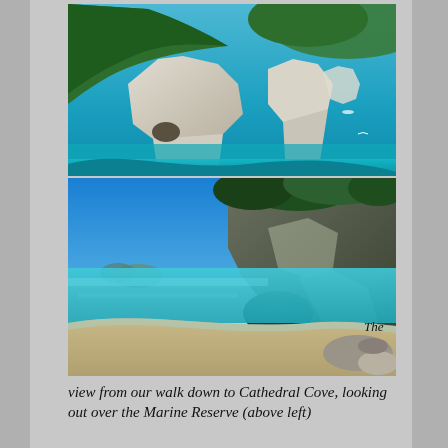[Figure (photo): Aerial or elevated view of Cathedral Cove marine reserve coastal cliffs with white limestone rock formations, turquoise and blue sea water, and green forested hills in the background.]
[Figure (photo): Beach-level view of Cathedral Cove with large white/grey rock arch formation, sandy beach, clear turquoise water, blue sky, and lush green tree cover on top of the rocks.]
The view from our walk down to Cathedral Cove, looking out over the Marine Reserve (above left)